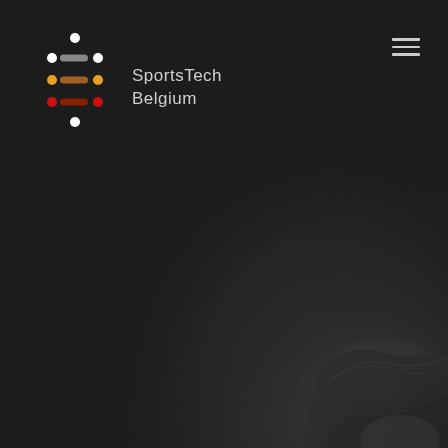[Figure (logo): SportsTech Belgium logo — colorful dot-and-dash pattern resembling a Belgian flag color scheme with white, grey, orange/yellow, and red dots and dashes arranged in a grid, followed by the text 'SportsTech Belgium']
[Figure (photo): Dark background photo of a person (athlete) partially visible in the bottom-right corner, shown in greyscale/dark tones against a textured dark surface]